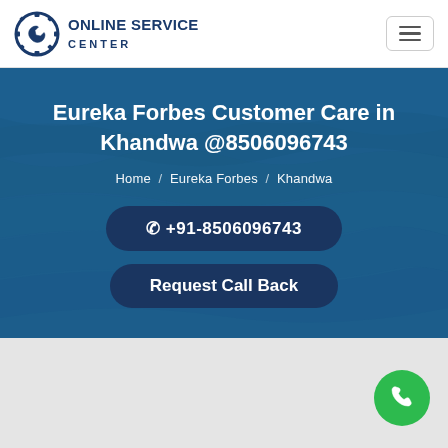[Figure (logo): Online Service Center logo with gear/wrench icon and text]
Eureka Forbes Customer Care in Khandwa @8506096743
Home / Eureka Forbes / Khandwa
☎ +91-8506096743
Request Call Back
[Figure (other): Green circular phone call floating action button]